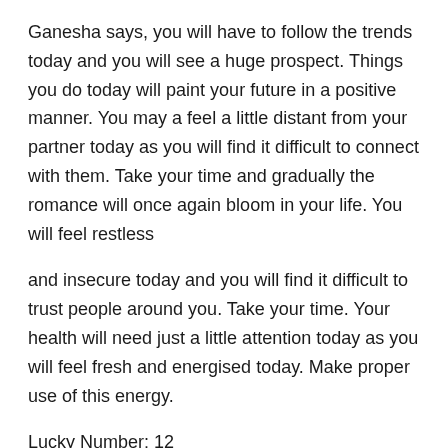Ganesha says, you will have to follow the trends today and you will see a huge prospect. Things you do today will paint your future in a positive manner. You may a feel a little distant from your partner today as you will find it difficult to connect with them. Take your time and gradually the romance will once again bloom in your life. You will feel restless
and insecure today and you will find it difficult to trust people around you. Take your time. Your health will need just a little attention today as you will feel fresh and energised today. Make proper use of this energy.
Lucky Number: 12
Lucky Colour: Blue
Gemini